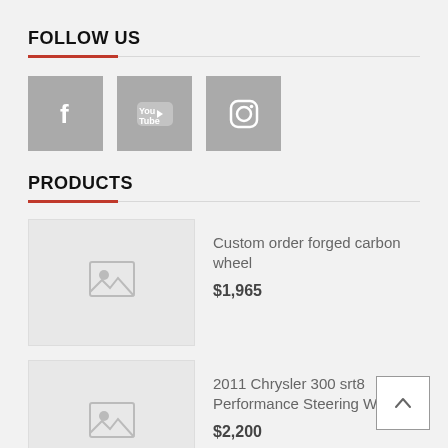FOLLOW US
[Figure (illustration): Three social media icon buttons: Facebook (f), YouTube, and Instagram, displayed as gray square boxes with white icons.]
PRODUCTS
[Figure (photo): Placeholder image thumbnail for product]
Custom order forged carbon wheel
$1,965
[Figure (photo): Placeholder image thumbnail for product]
2011 Chrysler 300 srt8 Performance Steering Wheel
$2,200